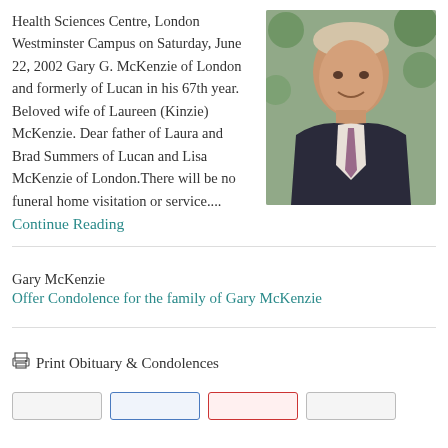Health Sciences Centre, London Westminster Campus on Saturday, June 22, 2002 Gary G. McKenzie of London and formerly of Lucan in his 67th year. Beloved wife of Laureen (Kinzie) McKenzie. Dear father of Laura and Brad Summers of Lucan and Lisa McKenzie of London.There will be no funeral home visitation or service.... Continue Reading
[Figure (photo): Portrait photo of an older man in a suit and tie with a boutonniere, smiling, outdoors with green foliage background]
Gary McKenzie
Offer Condolence for the family of Gary McKenzie
Print Obituary & Condolences